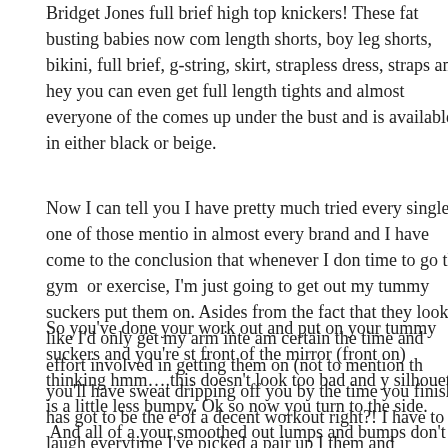Bridget Jones full brief high top knickers! These fat busting babies now com length shorts, boy leg shorts, bikini, full brief, g-string, skirt, strapless dress, straps and hey you can even get full length tights and almost everyone of the comes up under the bust and is available in either black or beige.
Now I can tell you I have pretty much tried every single one of those mentio in almost every brand and I have come to the conclusion that whenever I don time to go the gym or exercise, I'm just going to get out my tummy suckers put them on. Asides from the fact that they look like I'd only get my arm inte am certain the time and effort involved in getting them on (not to mention th you'll have sweat dripping off you by the time you finish) has got to be the e of a decent workout right?! I have to laugh everytime I've picked a pair up I them and think….No….how could this possibly be the right size…..how cou possibly fit?! But they fit….you might have a coronary getting them on, but they're on, you'll surprisingly see that they fit and you can breathe…for now
So you've done your work out and put on your tummy suckers and you're st front of the mirror (front on) thinking hmm….this doesn't look too bad and y silhouette is a little less bumpy. Ok so now you turn to the side. And all of a your smoothed out lumps and bumps don't look so good. It seems the 'tum suckers' didn't 'suck' anything in at all, but have actually decided to flatten a disperse your fat giving you a strange shaped stomach and well, a rather fi